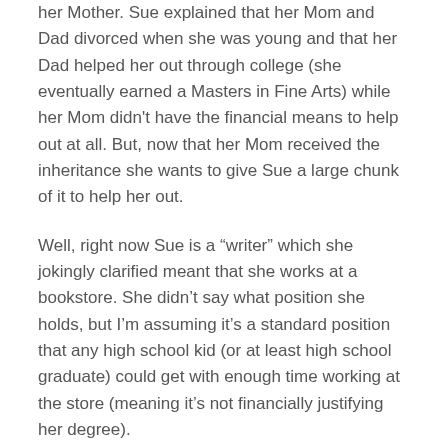her Mother. Sue explained that her Mom and Dad divorced when she was young and that her Dad helped her out through college (she eventually earned a Masters in Fine Arts) while her Mom didn't have the financial means to help out at all. But, now that her Mom received the inheritance she wants to give Sue a large chunk of it to help her out.
Well, right now Sue is a “writer” which she jokingly clarified meant that she works at a bookstore. She didn’t say what position she holds, but I’m assuming it’s a standard position that any high school kid (or at least high school graduate) could get with enough time working at the store (meaning it’s not financially justifying her degree).
However, she did mention that she was going to be published next year (2011). She didn’t seem too thrilled by that idea so I’m not sure if it is a self-publishing deal or